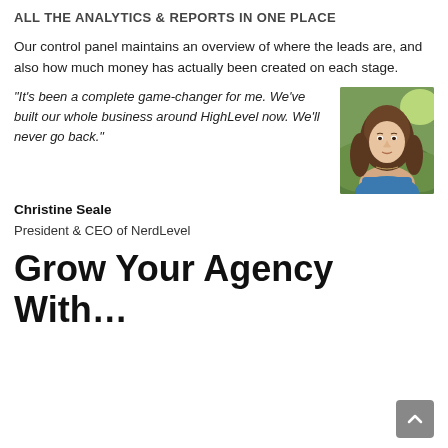ALL THE ANALYTICS & REPORTS IN ONE PLACE
Our control panel maintains an overview of where the leads are, and also how much money has actually been created on each stage.
“It’s been a complete game-changer for me. We’ve built our whole business around HighLevel now. We’ll never go back.”
[Figure (photo): Headshot photo of Christine Seale, a woman with brown hair, outdoors with green background.]
Christine Seale
President & CEO of NerdLevel
Grow Your Agency With…